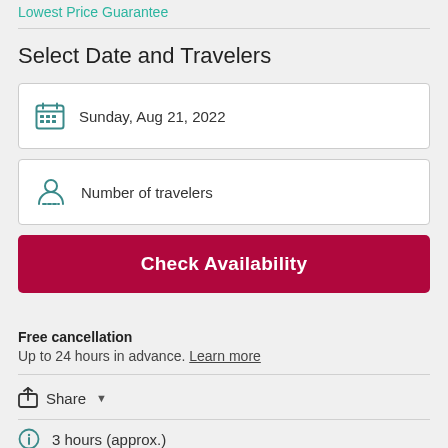Lowest Price Guarantee
Select Date and Travelers
Sunday, Aug 21, 2022
Number of travelers
Check Availability
Free cancellation
Up to 24 hours in advance. Learn more
Share
3 hours (approx.)